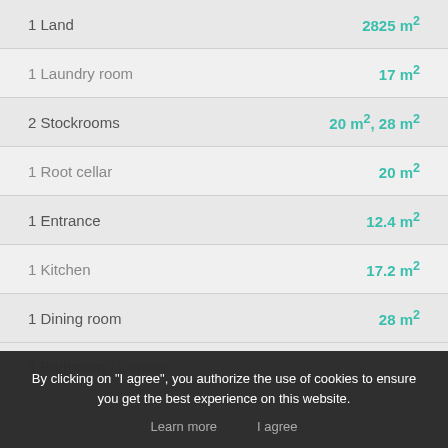1 Land — 2825 m²
1 Laundry room — 17 m²
2 Stockrooms — 20 m², 28 m²
1 Root cellar — 20 m²
1 Entrance — 12.4 m²
1 Kitchen — 17.2 m²
1 Dining room — 28 m²
1 Bathroom / Lavatory
By clicking on "I agree", you authorize the use of cookies to ensure you get the best experience on this website.
Learn more   I agree